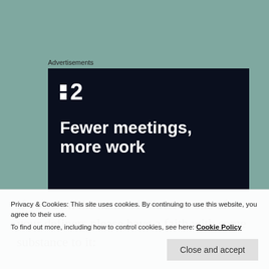Advertisements
[Figure (screenshot): Dark-background advertisement for a productivity app showing a logo with two dots and the number 2, with bold white text reading 'Fewer meetings, more work']
If you own the name of Christ as one of your definers please have a faith with some substance to it:
Privacy & Cookies: This site uses cookies. By continuing to use this website, you agree to their use.
To find out more, including how to control cookies, see here: Cookie Policy
Close and accept